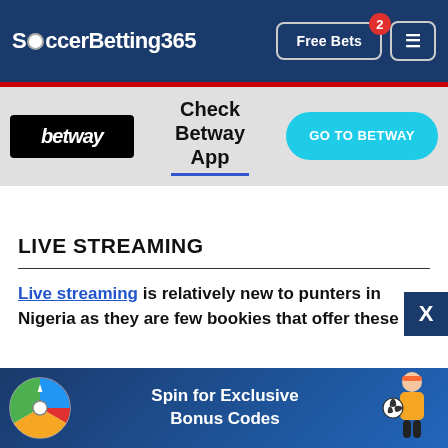SoccerBetting365 | Free Bets | Menu
[Figure (logo): Betway logo on black background and GO TO BETWAY button with 'Check Betway App' text]
LIVE STREAMING
Live streaming is relatively new to punters in Nigeria as they are few bookies that offer these
[Figure (infographic): Spin for Exclusive Bonus Codes banner with spinning wheel and woman with soccer ball]
This website uses cookies. By continuing to browse the site, you are agreeing to our use of cookies